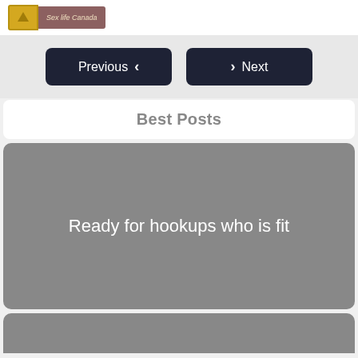Sex life Canada
[Figure (screenshot): Navigation buttons: Previous (left chevron) and Next (right chevron) on dark navy background]
Best Posts
[Figure (screenshot): Gray post card with white text: Ready for hookups who is fit]
[Figure (screenshot): Gray post card partially visible at bottom]